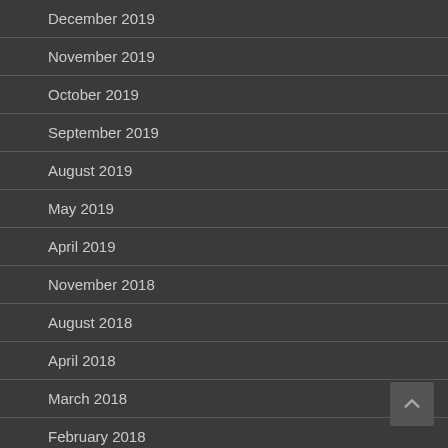December 2019
November 2019
October 2019
September 2019
August 2019
May 2019
April 2019
November 2018
August 2018
April 2018
March 2018
February 2018